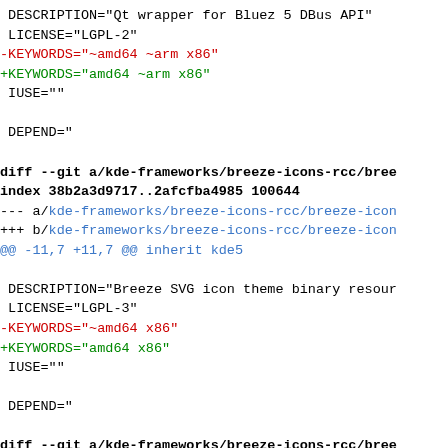DESCRIPTION="Qt wrapper for Bluez 5 DBus API"
 LICENSE="LGPL-2"
-KEYWORDS="~amd64 ~arm x86"
+KEYWORDS="amd64 ~arm x86"
 IUSE=""

 DEPEND="

diff --git a/kde-frameworks/breeze-icons-rcc/bree
index 38b2a3d9717..2afcfba4985 100644
--- a/kde-frameworks/breeze-icons-rcc/breeze-icon
+++ b/kde-frameworks/breeze-icons-rcc/breeze-icon
@@ -11,7 +11,7 @@ inherit kde5

 DESCRIPTION="Breeze SVG icon theme binary resour
 LICENSE="LGPL-3"
-KEYWORDS="~amd64 x86"
+KEYWORDS="amd64 x86"
 IUSE=""

 DEPEND="

diff --git a/kde-frameworks/breeze-icons-rcc/bree